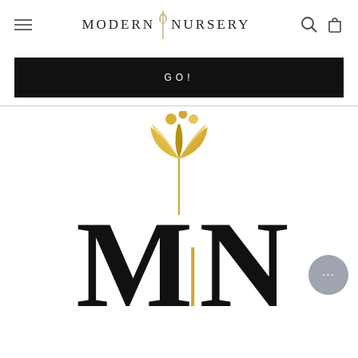[Figure (logo): Modern Nursery website header with hamburger menu on left, Modern Nursery logo text with tulip icon in center, search and cart icons on right]
[Figure (infographic): Black banner button with 'GO!' text in white, letter-spaced]
[Figure (logo): Large Modern Nursery logo: golden glitter tulip flower icon above large black M|N letters, with a chat bubble icon at bottom right]